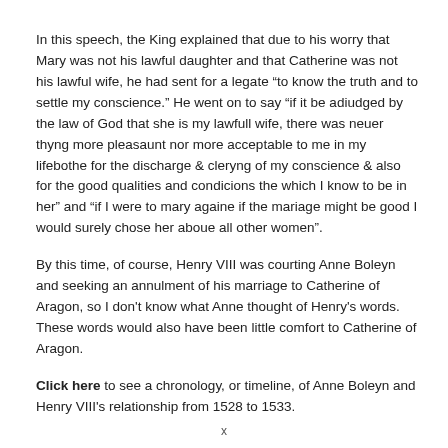In this speech, the King explained that due to his worry that Mary was not his lawful daughter and that Catherine was not his lawful wife, he had sent for a legate “to know the truth and to settle my conscience.” He went on to say “if it be adiudged by the law of God that she is my lawfull wife, there was neuer thyng more pleasaunt nor more acceptable to me in my lifebothe for the discharge & cleryng of my conscience & also for the good qualities and condicions the which I know to be in her” and “if I were to mary againe if the mariage might be good I would surely chose her aboue all other women”.
By this time, of course, Henry VIII was courting Anne Boleyn and seeking an annulment of his marriage to Catherine of Aragon, so I don't know what Anne thought of Henry's words. These words would also have been little comfort to Catherine of Aragon.
Click here to see a chronology, or timeline, of Anne Boleyn and Henry VIII's relationship from 1528 to 1533.
x